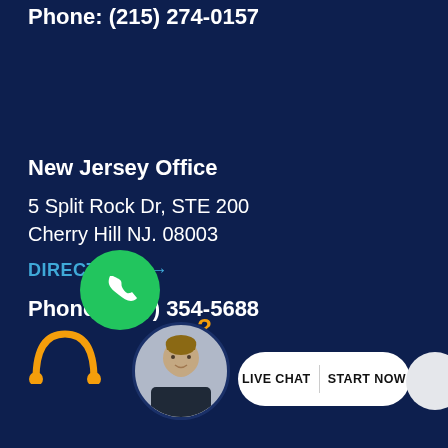Phone: (215) 274-0157
New Jersey Office
5 Split Rock Dr, STE 200
Cherry Hill NJ. 08003
DIRECTIONS →
Phone: (856) 354-5688
[Figure (other): Green circular phone call button icon]
[Figure (other): Yellow arc chat icon with question mark]
[Figure (photo): Circular avatar photo of a woman in professional attire]
[Figure (other): Live Chat | Start Now white pill-shaped button]